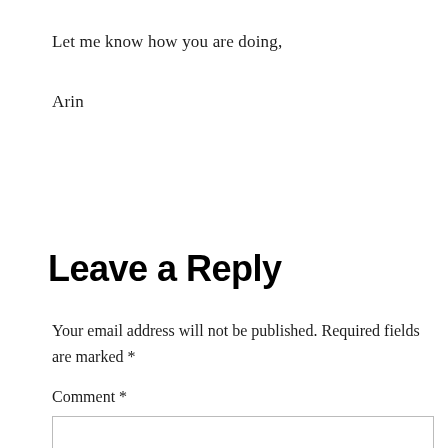Let me know how you are doing,
Arin
Leave a Reply
Your email address will not be published. Required fields are marked *
Comment *